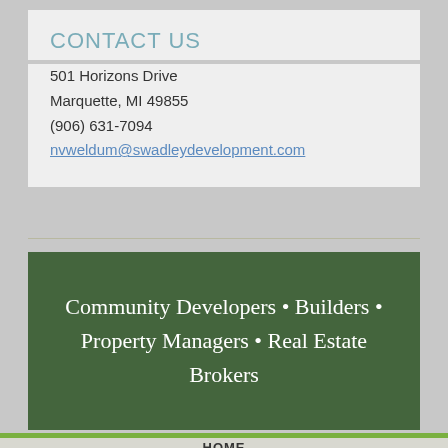CONTACT US
501 Horizons Drive
Marquette, MI 49855
(906) 631-7094
nvweldum@swadleydevelopment.com
[Figure (other): Dark green banner with white serif text: Community Developers • Builders • Property Managers • Real Estate Brokers]
HOME
PROJECT DEVELOPMENT